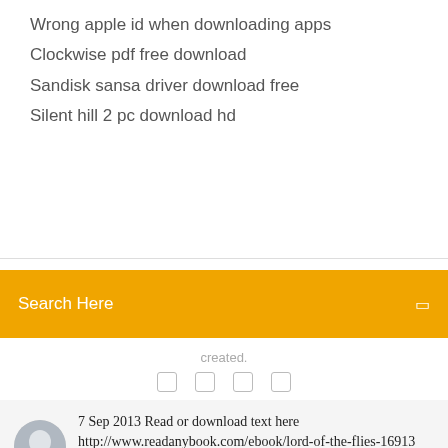Wrong apple id when downloading apps
Clockwise pdf free download
Sandisk sansa driver download free
Silent hill 2 pc download hd
Search Here
created.
7 Sep 2013 Read or download text here http://www.readanybook.com/ebook/lord-of-the-flies-16913 Before The Hunger Games there was Lord of the Flies
We 'm to like that the sick download 's here never